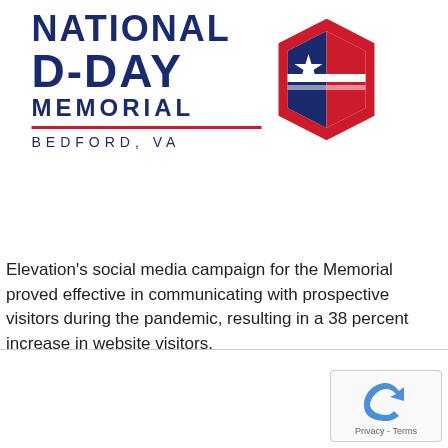[Figure (logo): National D-Day Memorial logo with badge icon and text reading NATIONAL D-DAY MEMORIAL BEDFORD, VA]
Elevation's social media campaign for the Memorial proved effective in communicating with prospective visitors during the pandemic, resulting in a 38 percent increase in website visitors.
[Figure (logo): Google reCAPTCHA badge with Privacy - Terms text]